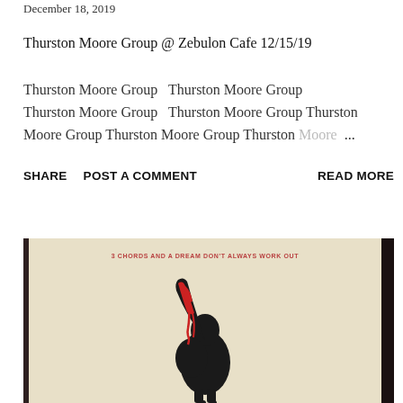December 18, 2019
Thurston Moore Group @ Zebulon Cafe 12/15/19
Thurston Moore Group  Thurston Moore Group  Thurston Moore Group  Thurston Moore Group Thurston Moore Group Thurston Moore Group Thurston Moore Group Thurston Moore ...
SHARE    POST A COMMENT    READ MORE
[Figure (photo): Photo of a framed poster or book cover with text '3 CHORDS AND A DREAM DON'T ALWAYS WORK OUT' in red/orange uppercase letters, with a black and red illustration of a person playing guitar below it, against a beige/cream background.]